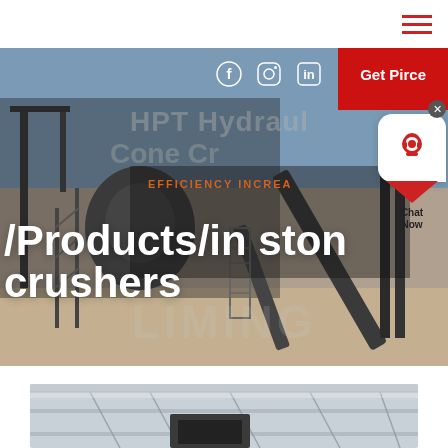[Figure (photo): Industrial stone crusher / mining plant facility with conveyor belts and heavy machinery against a blue sky background. Hero banner image for a crushers product page.]
/Products/in stone crushers
HPT Hydraulic Cone Cr... EFFICIENCY INCREA...
[Figure (photo): Interior of an industrial building or factory, showing structural beams and a dark panel or door at the bottom of the image.]